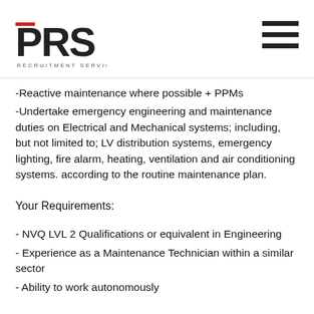PRS RECRUITMENT SERVICES
-Reactive maintenance where possible + PPMs
-Undertake emergency engineering and maintenance duties on Electrical and Mechanical systems; including, but not limited to; LV distribution systems, emergency lighting, fire alarm, heating, ventilation and air conditioning systems. according to the routine maintenance plan.
Your Requirements:
- NVQ LVL 2 Qualifications or equivalent in Engineering
- Experience as a Maintenance Technician within a similar sector
- Ability to work autonomously